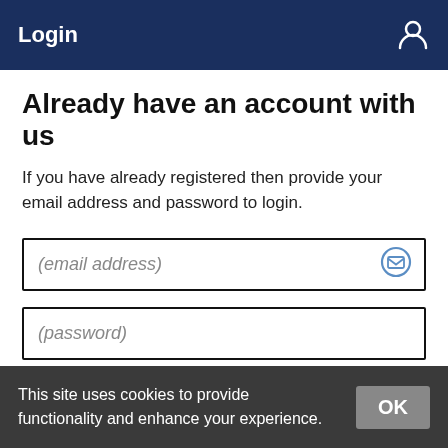Login
Already have an account with us
If you have already registered then provide your email address and password to login.
(email address)
(password)
Login →
This site uses cookies to provide functionality and enhance your experience.